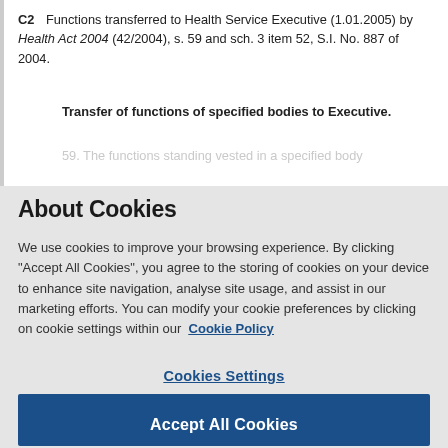C2   Functions transferred to Health Service Executive (1.01.2005) by Health Act 2004 (42/2004), s. 59 and sch. 3 item 52, S.I. No. 887 of 2004.
Transfer of functions of specified bodies to Executive.
About Cookies
We use cookies to improve your browsing experience. By clicking "Accept All Cookies", you agree to the storing of cookies on your device to enhance site navigation, analyse site usage, and assist in our marketing efforts. You can modify your cookie preferences by clicking on cookie settings within our  Cookie Policy
Cookies Settings
Reject All
Accept All Cookies